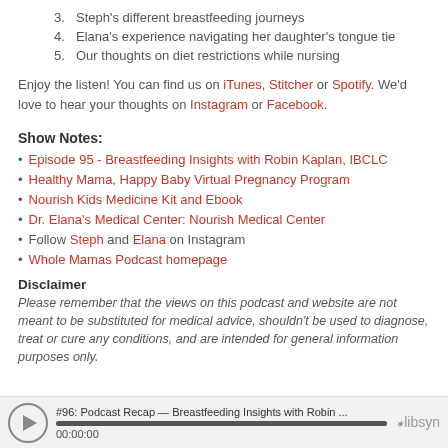3. Steph's different breastfeeding journeys
4. Elana's experience navigating her daughter's tongue tie
5. Our thoughts on diet restrictions while nursing
Enjoy the listen! You can find us on iTunes, Stitcher or Spotify. We'd love to hear your thoughts on Instagram or Facebook.
Show Notes:
Episode 95 - Breastfeeding Insights with Robin Kaplan, IBCLC
Healthy Mama, Happy Baby Virtual Pregnancy Program
Nourish Kids Medicine Kit and Ebook
Dr. Elana's Medical Center: Nourish Medical Center
Follow Steph and Elana on Instagram
Whole Mamas Podcast homepage
Disclaimer
Please remember that the views on this podcast and website are not meant to be substituted for medical advice, shouldn't be used to diagnose, treat or cure any conditions, and are intended for general information purposes only.
[Figure (screenshot): Audio player bar showing episode '#96: Podcast Recap — Breastfeeding Insights with Robin ...' with play button, progress bar, timestamp 00:00:00 and libsyn logo]